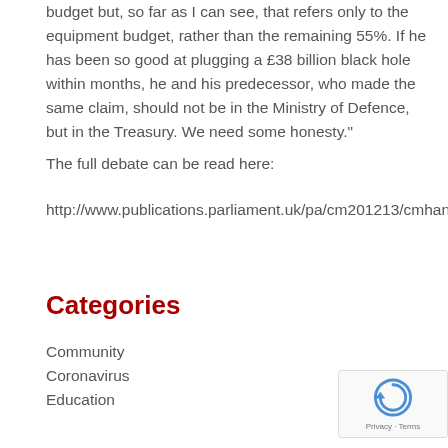budget but, so far as I can see, that refers only to the equipment budget, rather than the remaining 55%. If he has been so good at plugging a £38 billion black hole within months, he and his predecessor, who made the same claim, should not be in the Ministry of Defence, but in the Treasury. We need some honesty.”
The full debate can be read here:
http://www.publications.parliament.uk/pa/cm201213/cmhansrd/cm130207/halltext/130207h0001.htm
Categories
Community
Coronavirus
Education